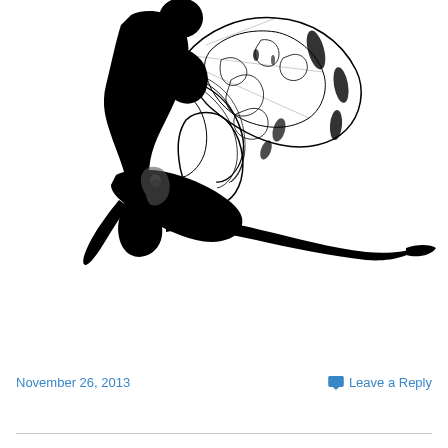[Figure (illustration): Black silhouette of a seated fairy or dancer with large decorative butterfly/floral wings rendered in black line art on white background. The figure is posed with legs extended and appears to be playing or holding something.]
November 26, 2013
Leave a Reply